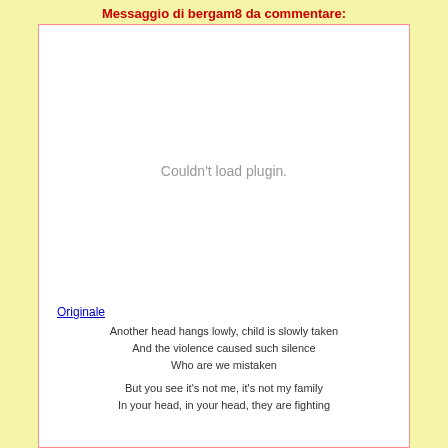Messaggio di bergam8 da commentare:
[Figure (other): Embedded plugin area showing error message: Couldn't load plugin.]
Originale
Another head hangs lowly, child is slowly taken
And the violence caused such silence
Who are we mistaken

But you see it's not me, it's not my family
In your head, in your head, they are fighting